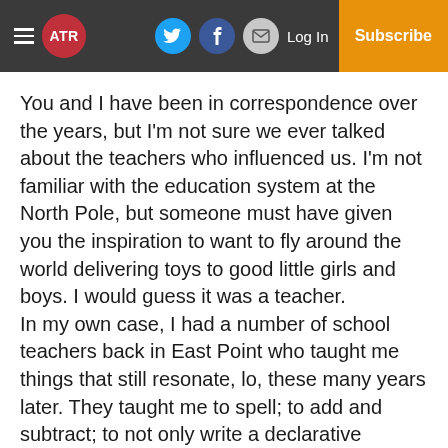ATR | Log In | Subscribe
You and I have been in correspondence over the years, but I'm not sure we ever talked about the teachers who influenced us. I'm not familiar with the education system at the North Pole, but someone must have given you the inspiration to want to fly around the world delivering toys to good little girls and boys. I would guess it was a teacher.
In my own case, I had a number of school teachers back in East Point who taught me things that still resonate, lo, these many years later. They taught me to spell; to add and subtract; to not only write a declarative sentence, but to diagram it as well (a lost art); to find Belgium on a map; to dissect a frog (that